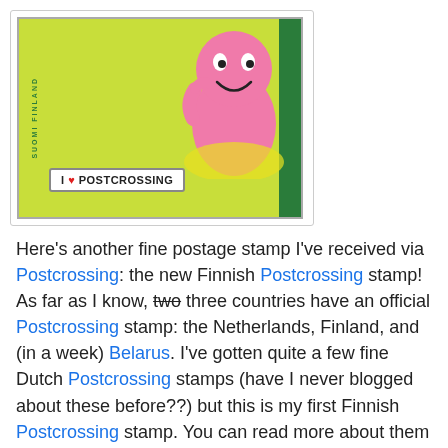[Figure (photo): A Finnish postage stamp featuring a pink cartoon character holding a sign that says 'I ♥ POSTCROSSING' on a yellow-green dotted background. The stamp has 'SUOMI FINLAND' written vertically on the left side and a green ribbon on the right edge.]
Here's another fine postage stamp I've received via Postcrossing: the new Finnish Postcrossing stamp! As far as I know, two three countries have an official Postcrossing stamp: the Netherlands, Finland, and (in a week) Belarus. I've gotten quite a few fine Dutch Postcrossing stamps (have I never blogged about these before??) but this is my first Finnish Postcrossing stamp. You can read more about them on the Postcrossing blog. Not sure what I think of the one with the mouth...
I think it would be wonderful if the USA would issue a Postcrossing stamp, but I somehow doubt that is very likely to happen.
at 1:14 PM